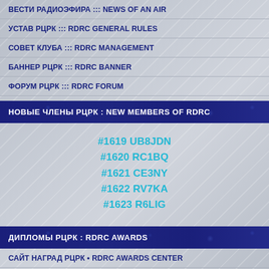ВЕСТИ РАДИОЭФИРА ::: NEWS OF AN AIR
УСТАВ РЦРК ::: RDRC GENERAL RULES
СОВЕТ КЛУБА ::: RDRC MANAGEMENT
БАННЕР РЦРК ::: RDRC BANNER
ФОРУМ РЦРК ::: RDRC FORUM
НОВЫЕ ЧЛЕНЫ РЦРК : NEW MEMBERS OF RDRC
#1619 UB8JDN
#1620 RC1BQ
#1621 CE3NY
#1622 RV7KA
#1623 R6LIG
ДИПЛОМЫ РЦРК : RDRC AWARDS
САЙТ НАГРАД РЦРК • RDRC AWARDS CENTER
ДИПЛОМ ЛЮБИТЕЛЬСКОГО ЦИФРОВОГО РАДИО